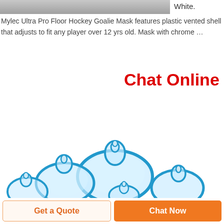[Figure (photo): Partial photo of a goalie mask or similar product, cropped at top of page, gray background]
White.
Mylec Ultra Pro Floor Hockey Goalie Mask features plastic vented shell that adjusts to fit any player over 12 yrs old. Mask with chrome …
Chat Online
[Figure (photo): Multiple blue-rimmed baby bottle nipples/pacifiers of various sizes arranged on a white background]
Get a Quote
Chat Now